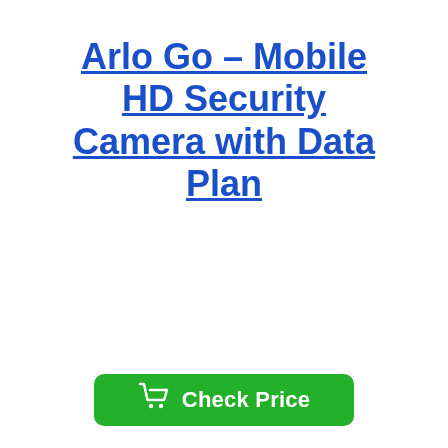Arlo Go – Mobile HD Security Camera with Data Plan
[Figure (other): Green 'Check Price' button with shopping cart icon]
This security camera runs over a 4G network and has an internal SIM card. It is ideal